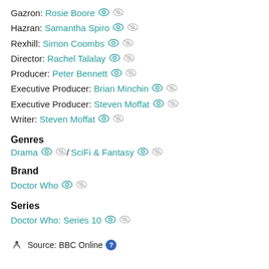Gazron: Rosie Boore
Hazran: Samantha Spiro
Rexhill: Simon Coombs
Director: Rachel Talalay
Producer: Peter Bennett
Executive Producer: Brian Minchin
Executive Producer: Steven Moffat
Writer: Steven Moffat
Genres
Drama / SciFi & Fantasy
Brand
Doctor Who
Series
Doctor Who: Series 10
Source: BBC Online